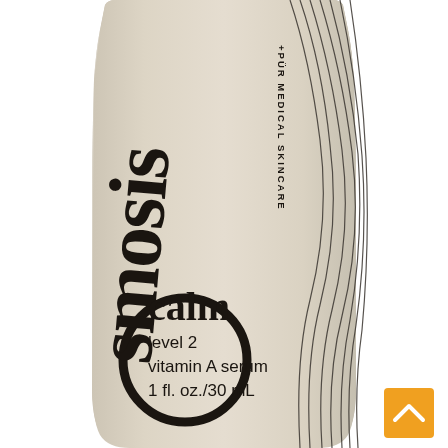[Figure (photo): Close-up photograph of an Osmosis +PÜR Medical Skincare product bottle. The bottle is a tall, slender glass bottle with a warm beige/cream colored label. The large 'Osmosis' brand name is printed vertically/diagonally in large black letters with a large stylized 'O'. Below the brand name reads '+PÜR MEDICAL SKINCARE' in small vertical text. Decorative flowing wave lines appear on the right side of the bottle. In the lower portion of the label: 'calm' in large bold text, then 'level 2', 'vitamin A serum', '1 fl. oz./30 mL' in smaller text. An orange square button with a white upward chevron arrow appears in the lower-right corner of the image.]